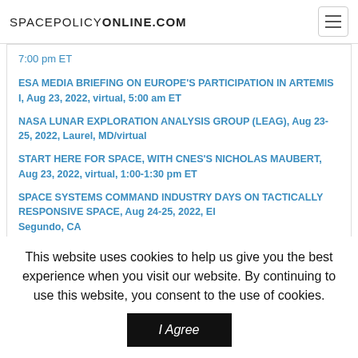SPACEPOLICYONLINE.COM
7:00 pm ET
ESA MEDIA BRIEFING ON EUROPE'S PARTICIPATION IN ARTEMIS I, Aug 23, 2022, virtual, 5:00 am ET
NASA LUNAR EXPLORATION ANALYSIS GROUP (LEAG), Aug 23-25, 2022, Laurel, MD/virtual
START HERE FOR SPACE, WITH CNES'S NICHOLAS MAUBERT, Aug 23, 2022, virtual, 1:00-1:30 pm ET
SPACE SYSTEMS COMMAND INDUSTRY DAYS ON TACTICALLY RESPONSIVE SPACE, Aug 24-25, 2022, El Segundo, CA
This website uses cookies to help us give you the best experience when you visit our website. By continuing to use this website, you consent to the use of cookies.
I Agree